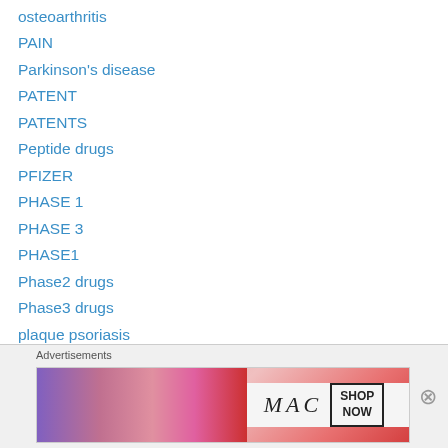osteoarthritis
PAIN
Parkinson's disease
PATENT
PATENTS
Peptide drugs
PFIZER
PHASE 1
PHASE 3
PHASE1
Phase2 drugs
Phase3 drugs
plaque psoriasis
POLYMORPH
Preclinical china
Preclinical drugs
Advertisements
[Figure (other): MAC cosmetics advertisement banner showing lipsticks with SHOP NOW call to action]